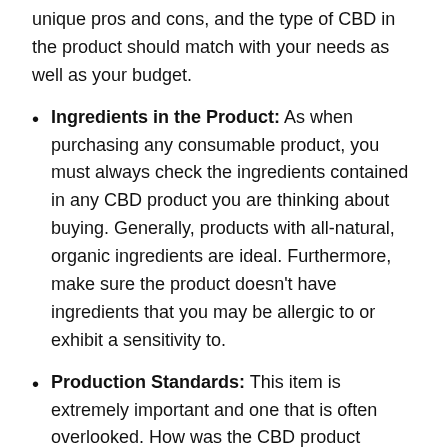unique pros and cons, and the type of CBD in the product should match with your needs as well as your budget.
Ingredients in the Product: As when purchasing any consumable product, you must always check the ingredients contained in any CBD product you are thinking about buying. Generally, products with all-natural, organic ingredients are ideal. Furthermore, make sure the product doesn't have ingredients that you may be allergic to or exhibit a sensitivity to.
Production Standards: This item is extremely important and one that is often overlooked. How was the CBD product produced or manufactured? Was the CBD produced in a standardized facility by a trained team? Was the